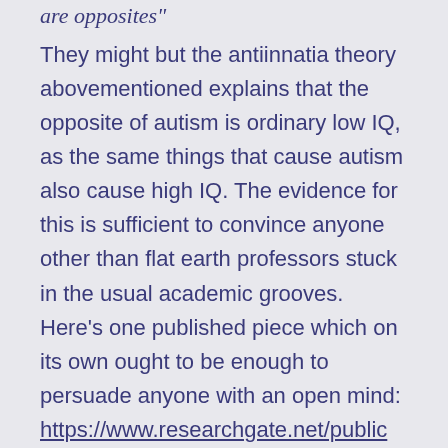are opposites"
They might but the antiinnatia theory abovementioned explains that the opposite of autism is ordinary low IQ, as the same things that cause autism also cause high IQ. The evidence for this is sufficient to convince anyone other than flat earth professors stuck in the usual academic grooves. Here’s one published piece which on its own ought to be enough to persuade anyone with an open mind: https://www.researchgate.net/publication/273789709_Rising-falling_mercury_pollution_causing_t